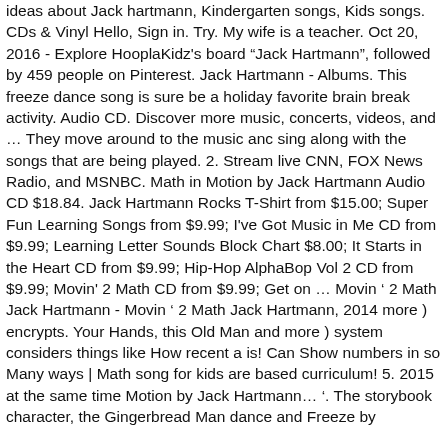ideas about Jack hartmann, Kindergarten songs, Kids songs. CDs & Vinyl Hello, Sign in. Try. My wife is a teacher. Oct 20, 2016 - Explore HooplaKidz's board "Jack Hartmann", followed by 459 people on Pinterest. Jack Hartmann - Albums. This freeze dance song is sure be a holiday favorite brain break activity. Audio CD. Discover more music, concerts, videos, and ... They move around to the music and sing along with the songs that are being played. 2. Stream live CNN, FOX News Radio, and MSNBC. Math in Motion by Jack Hartmann Audio CD $18.84. Jack Hartmann Rocks T-Shirt from $15.00; Super Fun Learning Songs from $9.99; I've Got Music in Me CD from $9.99; Learning Letter Sounds Block Chart $8.00; It Starts in the Heart CD from $9.99; Hip-Hop AlphaBop Vol 2 CD from $9.99; Movin' 2 Math CD from $9.99; Get on ... Movin ' 2 Math Jack Hartmann - Movin ' 2 Math Jack Hartmann, 2014 more ) encrypts. Your Hands, this Old Man and more ) system considers things like How recent a is! Can Show numbers in so Many ways | Math song for kids are based curriculum! 5. 2015 at the same time Motion by Jack Hartmann... '. The storybook character, the Gingerbread Man dance and Freeze by